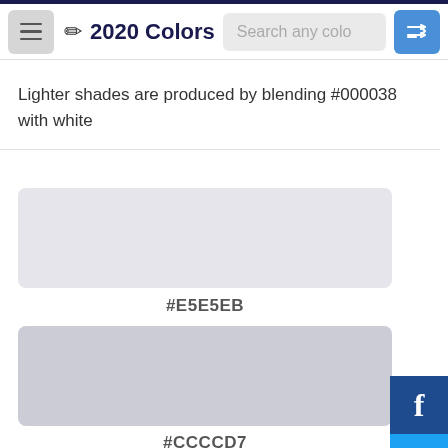2020 Colors
Lighter shades are produced by blending #000038 with white
[Figure (infographic): Color swatch for #E5E5EB - a very light blue-gray rectangle]
#E5E5EB
[Figure (infographic): Color swatch for #CCCCD7 - a light blue-gray rectangle]
#CCCCD7
[Figure (infographic): Social media sharing buttons: Facebook, Twitter, Reddit, Pinterest, Email on right side]